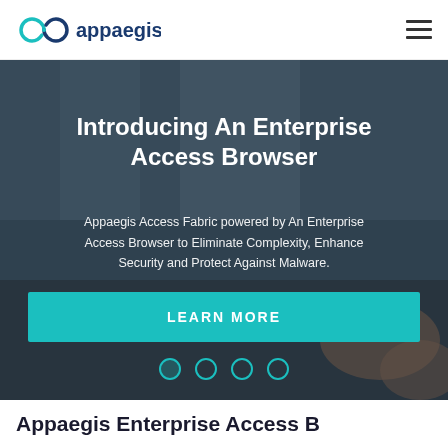appaegis
[Figure (screenshot): Hero banner with dark overlay over a background photo of hands typing on a keyboard. Contains headline, subtext, and a teal call-to-action button.]
Introducing An Enterprise Access Browser
Appaegis Access Fabric powered by An Enterprise Access Browser to Eliminate Complexity, Enhance Security and Protect Against Malware.
LEARN MORE
Appaegis Enterprise Access B...